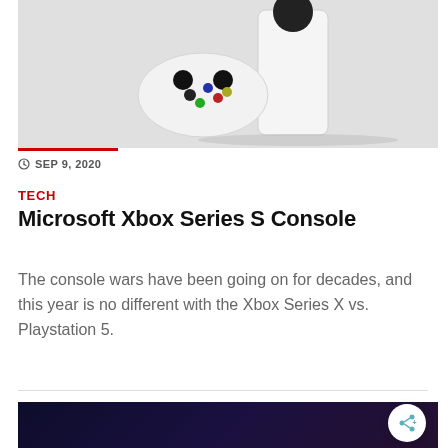[Figure (photo): Xbox Series S console and white controller on a light gray background]
SEP 9, 2020
TECH
Microsoft Xbox Series S Console
The console wars have been going on for decades, and this year is no different with the Xbox Series X vs. Playstation 5.
[Figure (photo): Dark background image showing a character with a red-lit face, partial view]